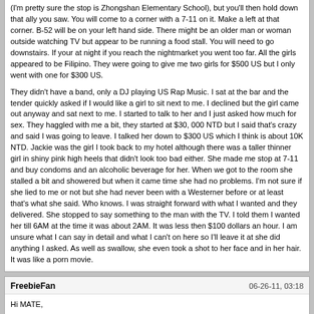(I'm pretty sure the stop is Zhongshan Elementary School), but you'll then hold down that ally you saw. You will come to a corner with a 7-11 on it. Make a left at that corner. B-52 will be on your left hand side. There might be an older man or woman outside watching TV but appear to be running a food stall. You will need to go downstairs. If your at night if you reach the nightmarket you went too far. All the girls appeared to be Filipino. They were going to give me two girls for $500 US but I only went with one for $300 US.
They didn't have a band, only a DJ playing US Rap Music. I sat at the bar and the tender quickly asked if I would like a girl to sit next to me. I declined but the girl came out anyway and sat next to me. I started to talk to her and I just asked how much for sex. They haggled with me a bit, they started at $30, 000 NTD but I said that's crazy and said I was going to leave. I talked her down to $300 US which I think is about 10K NTD. Jackie was the girl I took back to my hotel although there was a taller thinner girl in shiny pink high heels that didn't look too bad either. She made me stop at 7-11 and buy condoms and an alcoholic beverage for her. When we got to the room she stalled a bit and showered but when it came time she had no problems. I'm not sure if she lied to me or not but she had never been with a Westerner before or at least that's what she said. Who knows. I was straight forward with what I wanted and they delivered. She stopped to say something to the man with the TV. I told them I wanted her till 6AM at the time it was about 2AM. It was less then $100 dollars an hour. I am unsure what I can say in detail and what I can't on here so I'll leave it at she did anything I asked. As well as swallow, she even took a shot to her face and in her hair. It was like a porn movie.
FreebieFan	06-26-11, 03:18
Hi MATE,
I really adore you and of coarse Rag too. You both are great!
I wonder how you find those overseas worker in Taiwan, I supposed you have the list from Labor's dept. (just joking).
I ahve been staying in Taiwan for over 10 years but the only time I have a freebie with a Filipina working at Kaoshiung is when we have a chance to met